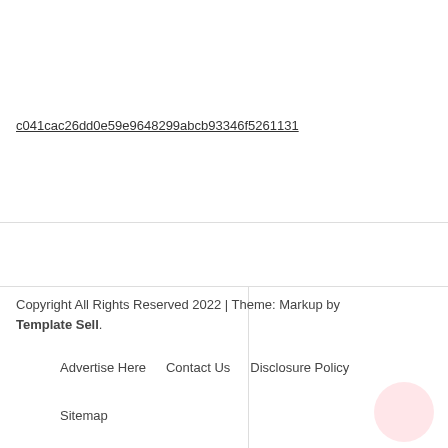c041cac26dd0e59e9648299abcb93346f5261131
Copyright All Rights Reserved 2022 | Theme: Markup by Template Sell.
Advertise Here   Contact Us   Disclosure Policy
Sitemap